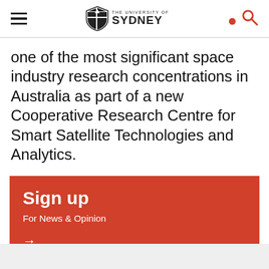The University of Sydney
one of the most significant space industry research concentrations in Australia as part of a new Cooperative Research Centre for Smart Satellite Technologies and Analytics.
Sign up
For News & Opinion
→